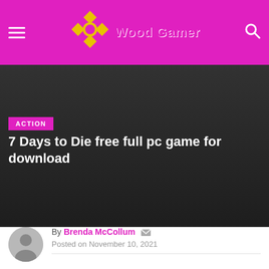Wood Gamer
[Figure (photo): Dark hero image background for article about 7 Days to Die]
ACTION
7 Days to Die free full pc game for download
By Brenda McCollum
Posted on November 10, 2021